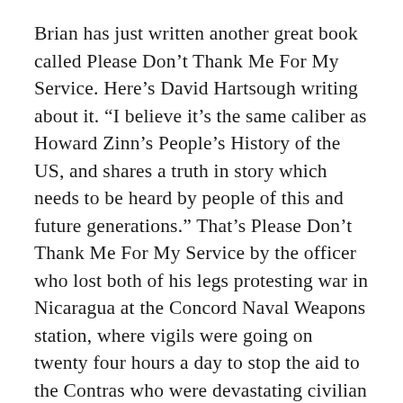Brian has just written another great book called Please Don’t Thank Me For My Service. Here’s David Hartsough writing about it. “I believe it’s the same caliber as Howard Zinn’s People’s History of the US, and shares a truth in story which needs to be heard by people of this and future generations.” That’s Please Don’t Thank Me For My Service by the officer who lost both of his legs protesting war in Nicaragua at the Concord Naval Weapons station, where vigils were going on twenty four hours a day to stop the aid to the Contras who were devastating civilian life in that country. So we’re proud of this, both the movie and the new book by Brian.
The great awakening continues. It’s not only in